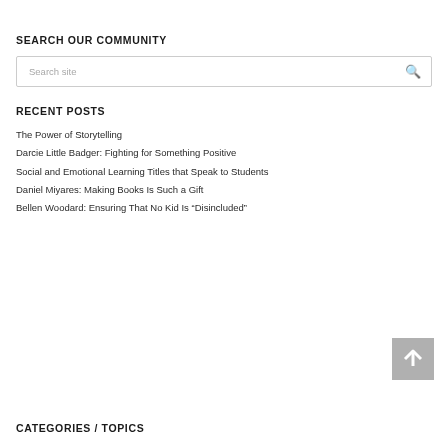SEARCH OUR COMMUNITY
Search site
RECENT POSTS
The Power of Storytelling
Darcie Little Badger: Fighting for Something Positive
Social and Emotional Learning Titles that Speak to Students
Daniel Miyares: Making Books Is Such a Gift
Bellen Woodard: Ensuring That No Kid Is “Disincluded”
CATEGORIES / TOPICS